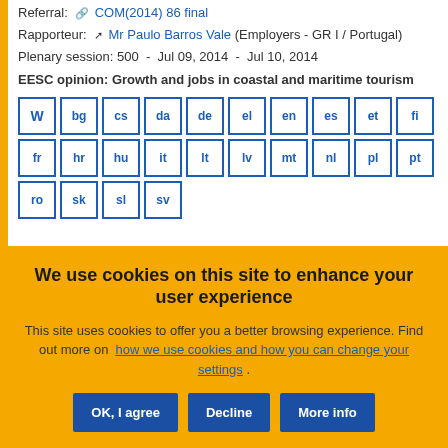Referral: COM(2014) 86 final
Rapporteur: Mr Paulo Barros Vale (Employers - GR I / Portugal)
Plenary session: 500  -  Jul 09, 2014  -  Jul 10, 2014
EESC opinion: Growth and jobs in coastal and maritime tourism
[Figure (other): Language selector buttons: W (Word), bg, cs, da, de, el, en, es, et, fi, fr, hr, hu, it, lt, lv, mt, nl, pl, pt, ro, sk, sl, sv]
We use cookies on this site to enhance your user experience
This site uses cookies to offer you a better browsing experience. Find out more on how we use cookies and how you can change your settings .
OK, I agree | Decline | More info